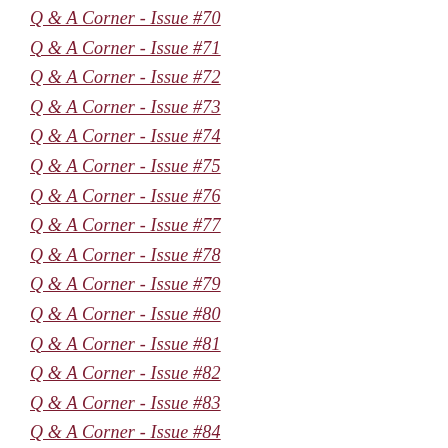Q & A Corner - Issue #70
Q & A Corner - Issue #71
Q & A Corner - Issue #72
Q & A Corner - Issue #73
Q & A Corner - Issue #74
Q & A Corner - Issue #75
Q & A Corner - Issue #76
Q & A Corner - Issue #77
Q & A Corner - Issue #78
Q & A Corner - Issue #79
Q & A Corner - Issue #80
Q & A Corner - Issue #81
Q & A Corner - Issue #82
Q & A Corner - Issue #83
Q & A Corner - Issue #84
Q & A Corner - Issue #85